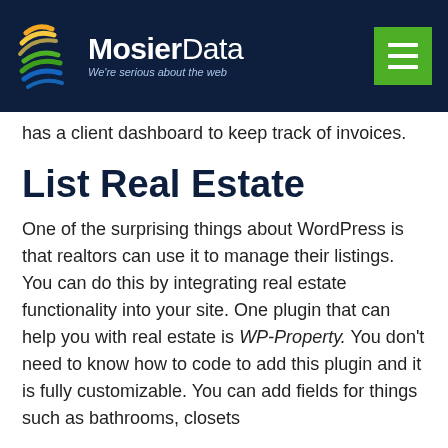MosierData — We're serious about the web
has a client dashboard to keep track of invoices.
List Real Estate
One of the surprising things about WordPress is that realtors can use it to manage their listings. You can do this by integrating real estate functionality into your site. One plugin that can help you with real estate is WP-Property. You don't need to know how to code to add this plugin and it is fully customizable. You can add fields for things such as bathrooms, closets